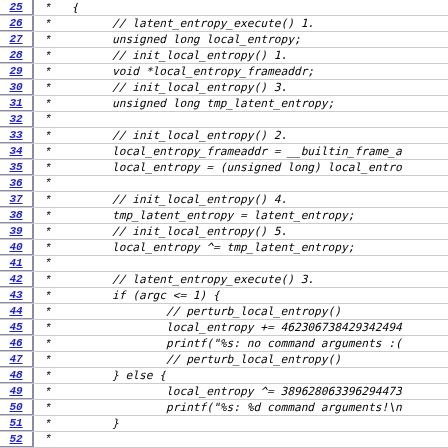Code listing lines 25-55 showing latent entropy source code comments
25:  * {
26:  *         // latent_entropy_execute() 1.
27:  *         unsigned long local_entropy;
28:  *         // init_local_entropy() 1.
29:  *         void *local_entropy_frameaddr;
30:  *         // init_local_entropy() 3.
31:  *         unsigned long tmp_latent_entropy;
32:  *
33:  *         // init_local_entropy() 2.
34:  *         local_entropy_frameaddr = __builtin_frame_a
35:  *         local_entropy = (unsigned long) local_entro
36:  *
37:  *         // init_local_entropy() 4.
38:  *         tmp_latent_entropy = latent_entropy;
39:  *         // init_local_entropy() 5.
40:  *         local_entropy ^= tmp_latent_entropy;
41:  *
42:  *         // latent_entropy_execute() 3.
43:  *         if (argc <= 1) {
44:  *                 // perturb_local_entropy()
45:  *                 local_entropy += 462306738429342494
46:  *                 printf("%s: no command arguments :(
47:  *                 // perturb_local_entropy()
48:  *         } else {
49:  *                 local_entropy ^= 389628063396294473
50:  *                 printf("%s: %d command arguments!\n
51:  *         }
52:  *
53:  *         // latent_entropy_execute() 4.
54:  *         tmp_latent_entropy = rol(tmp_latent_entropy
55:  *         local_entropy ^= ...